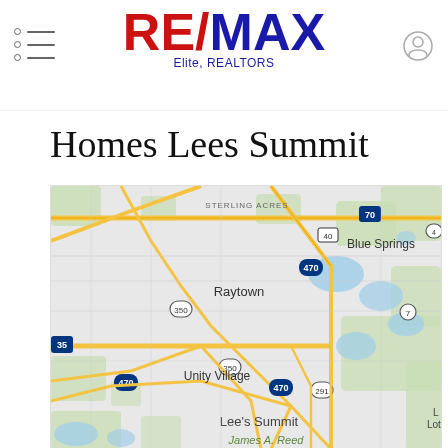[Figure (logo): RE/MAX Elite, REALTORS logo with red RE, blue slash, blue MAX text and subtitle]
Homes Lees Summit
[Figure (map): Google Maps view showing Lee's Summit, Raytown, Blue Springs, Unity Village, Sterling Acres area with interstate highways 70, 470, 35 and routes 40, 350, 291, 7]